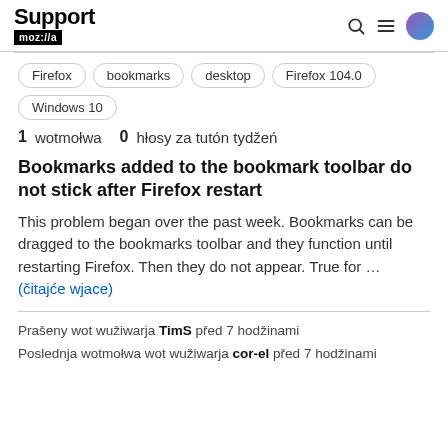Support moz://a
Firefox
bookmarks
desktop
Firefox 104.0
Windows 10
1 wotmołwa   0 hłosy za tutón tydžeń
Bookmarks added to the bookmark toolbar do not stick after Firefox restart
This problem began over the past week. Bookmarks can be dragged to the bookmarks toolbar and they function until restarting Firefox. Then they do not appear. True for … (čitajće wjace)
Prašeny wot wužiwarja TimS před 7 hodžinami
Poslednja wotmołwa wot wužiwarja cor-el před 7 hodžinami